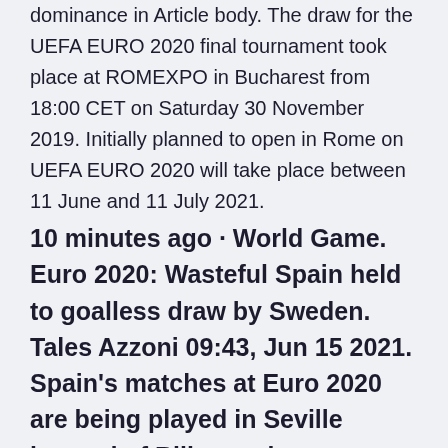dominance in Article body. The draw for the UEFA EURO 2020 final tournament took place at ROMEXPO in Bucharest from 18:00 CET on Saturday 30 November 2019. Initially planned to open in Rome on UEFA EURO 2020 will take place between 11 June and 11 July 2021.
10 minutes ago · World Game. Euro 2020: Wasteful Spain held to goalless draw by Sweden. Tales Azzoni 09:43, Jun 15 2021. Spain's matches at Euro 2020 are being played in Seville instead of Bilbao – the